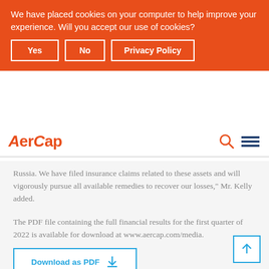We have placed cookies on your computer to help improve your experience. Will you accept our use of cookies?
Yes | No | Privacy Policy
AerCap
Russia. We have filed insurance claims related to these assets and will vigorously pursue all available remedies to recover our losses," Mr. Kelly added.
The PDF file containing the full financial results for the first quarter of 2022 is available for download at www.aercap.com/media.
Download as PDF